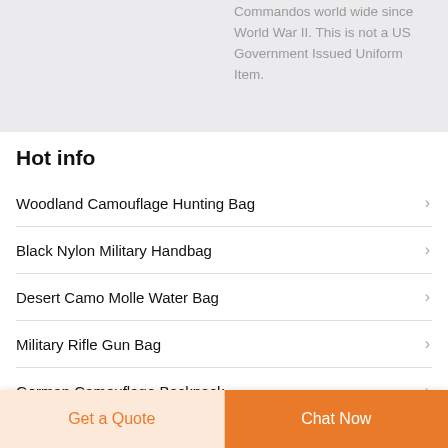Commandos world wide since World War II. This is not a US Government Issued Uniform Item.
Hot info
Woodland Camouflage Hunting Bag
Black Nylon Military Handbag
Desert Camo Molle Water Bag
Military Rifle Gun Bag
German Camouflage Backpack
Get a Quote | Chat Now